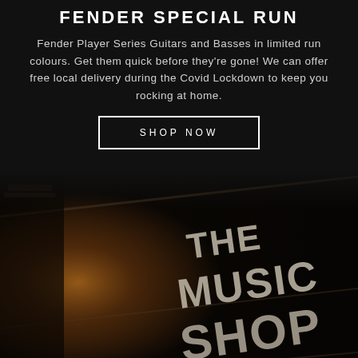FENDER SPECIAL RUN
Fender Player Series Guitars and Basses in limited run colours. Get them quick before they're gone! We can offer free local delivery during the Covid Lockdown to keep you rocking at home.
SHOP NOW
[Figure (photo): Close-up dark photo of a wooden sign reading 'THE MUSIC SHOP' with dramatic warm lighting from the left side, sign text in large raised letters against a dark brown surface]